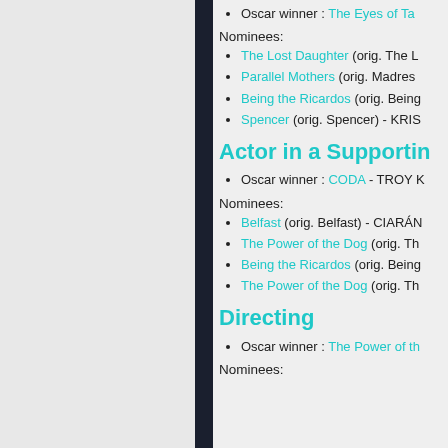Oscar winner : The Eyes of Ta…
Nominees:
The Lost Daughter (orig. The L…
Parallel Mothers (orig. Madres…
Being the Ricardos (orig. Being…
Spencer (orig. Spencer) - KRIS…
Actor in a Supporting…
Oscar winner : CODA - TROY K…
Nominees:
Belfast (orig. Belfast) - CIARÁN…
The Power of the Dog (orig. Th…
Being the Ricardos (orig. Being…
The Power of the Dog (orig. Th…
Directing
Oscar winner : The Power of th…
Nominees: